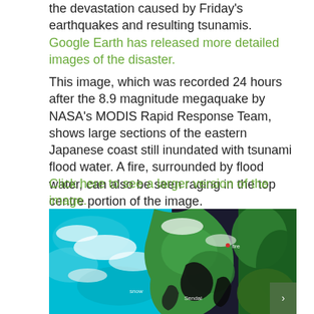the devastation caused by Friday's earthquakes and resulting tsunamis. Google Earth has released more detailed images of the disaster.
This image, which was recorded 24 hours after the 8.9 magnitude megaquake by NASA's MODIS Rapid Response Team, shows large sections of the eastern Japanese coast still inundated with tsunami flood water. A fire, surrounded by flood water, can also be seen raging in the top centre portion of the image.
Click here to see a larger version of the image.
[Figure (photo): NASA MODIS satellite image showing the eastern Japanese coast after the 2011 earthquake and tsunami. The image shows turquoise/cyan ocean and snow-covered terrain on the left, green land in the center and right, black flood water along the coast, labeled locations including 'snow', 'fire', and 'Sendai'.]